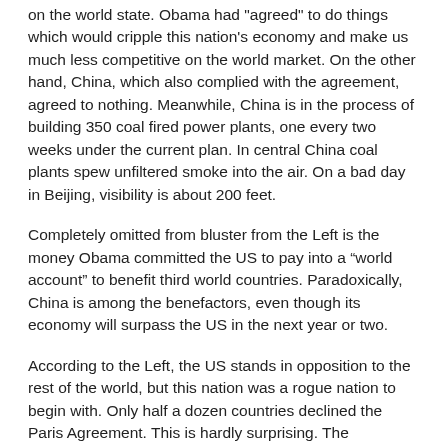on the world state. Obama had "agreed" to do things which would cripple this nation's economy and make us much less competitive on the world market. On the other hand, China, which also complied with the agreement, agreed to nothing. Meanwhile, China is in the process of building 350 coal fired power plants, one every two weeks under the current plan. In central China coal plants spew unfiltered smoke into the air. On a bad day in Beijing, visibility is about 200 feet.
Completely omitted from bluster from the Left is the money Obama committed the US to pay into a “world account” to benefit third world countries. Paradoxically, China is among the benefactors, even though its economy will surpass the US in the next year or two.
According to the Left, the US stands in opposition to the rest of the world, but this nation was a rogue nation to begin with. Only half a dozen countries declined the Paris Agreement. This is hardly surprising. The wealthiest nations, other than the US, opted to give much less financial support for what is essentially a “feel-good” agreement. When you rob Peter to pay Paul, you can expect the complete support of Paul in your endeavors.